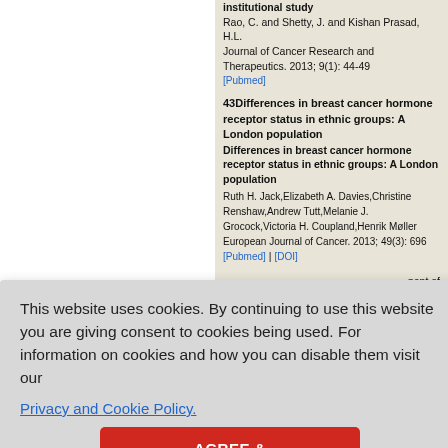institutional study
Rao, C. and Shetty, J. and Kishan Prasad, H.L.
Journal of Cancer Research and Therapeutics. 2013; 9(1): 44-49
[Pubmed]
43 Differences in breast cancer hormone receptor status in ethnic groups: A London population
Ruth H. Jack,Elizabeth A. Davies,Christine Renshaw,Andrew Tutt,Melanie J. Grocock,Victoria H. Coupland,Henrik Møller
European Journal of Cancer. 2013; 49(3): 696
[Pubmed] | [DOI]
This website uses cookies. By continuing to use this website you are giving consent to cookies being used. For information on cookies and how you can disable them visit our
Privacy and Cookie Policy.
AGREE & PROCEED
nent of
niddle-
1575-1583
ies in the
n of breast
eloping
enah Dawood
): 579
46 Challenges in the management of breast cancer in low- and middle-